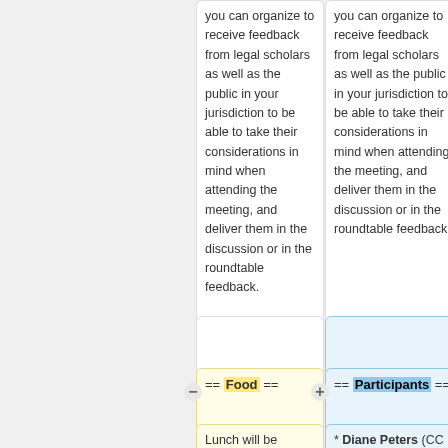you can organize to receive feedback from legal scholars as well as the public in your jurisdiction to be able to take their considerations in mind when attending the meeting, and deliver them in the discussion or in the roundtable feedback.
you can organize to receive feedback from legal scholars as well as the public in your jurisdiction to be able to take their considerations in mind when attending the meeting, and deliver them in the discussion or in the roundtable feedback.
== Food ==
== Participants ==
Lunch will be provided free of
* Diane Peters (CC HO)